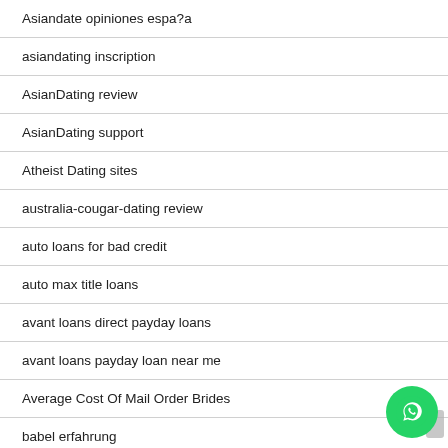Asiandate opiniones espa?a
asiandating inscription
AsianDating review
AsianDating support
Atheist Dating sites
australia-cougar-dating review
auto loans for bad credit
auto max title loans
avant loans direct payday loans
avant loans payday loan near me
Average Cost Of Mail Order Brides
babel erfahrung